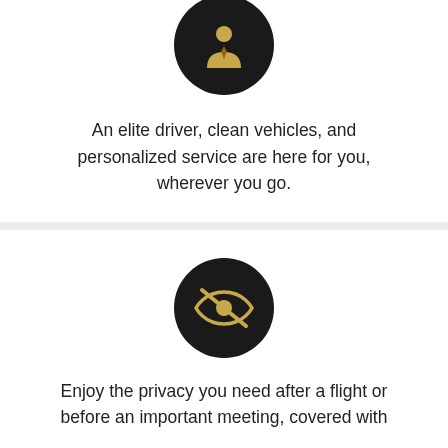[Figure (illustration): Black circle icon with a golden/yellow chauffeur/driver person silhouette wearing a suit and tie]
An elite driver, clean vehicles, and personalized service are here for you, wherever you go.
[Figure (illustration): Black circle icon with a golden/yellow eye with a slash through it (privacy/hidden icon)]
Enjoy the privacy you need after a flight or before an important meeting, covered with